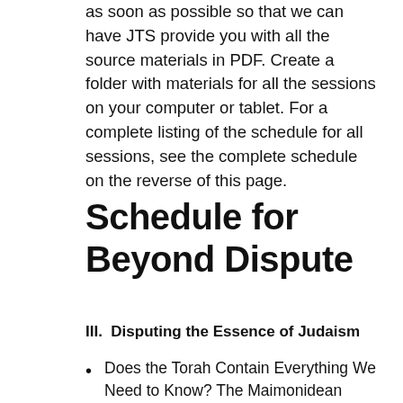as soon as possible so that we can have JTS provide you with all the source materials in PDF. Create a folder with materials for all the sessions on your computer or tablet. For a complete listing of the schedule for all sessions, see the complete schedule on the reverse of this page.
Schedule for Beyond Dispute
III.  Disputing the Essence of Judaism
Does the Torah Contain Everything We Need to Know? The Maimonidean Controversy. May 4th